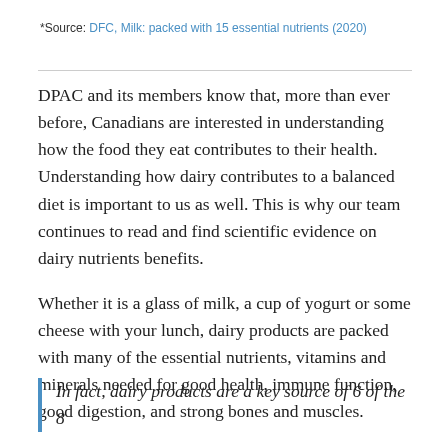*Source: DFC, Milk: packed with 15 essential nutrients (2020)
DPAC and its members know that, more than ever before, Canadians are interested in understanding how the food they eat contributes to their health. Understanding how dairy contributes to a balanced diet is important to us as well. This is why our team continues to read and find scientific evidence on dairy nutrients benefits.
Whether it is a glass of milk, a cup of yogurt or some cheese with your lunch, dairy products are packed with many of the essential nutrients, vitamins and minerals needed for good health, immune function, good digestion, and strong bones and muscles.
In fact, dairy products are a key source of 6 of the 8